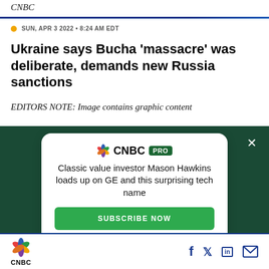CNBC
SUN, APR 3 2022 • 8:24 AM EDT
Ukraine says Bucha 'massacre' was deliberate, demands new Russia sanctions
EDITORS NOTE: Image contains graphic content
[Figure (advertisement): CNBC PRO advertisement with white card on dark green background. Text reads: 'Classic value investor Mason Hawkins loads up on GE and this surprising tech name' with a green 'SUBSCRIBE NOW' button. Close X button in top right.]
CNBC logo with social media icons: Facebook, Twitter, LinkedIn, Email